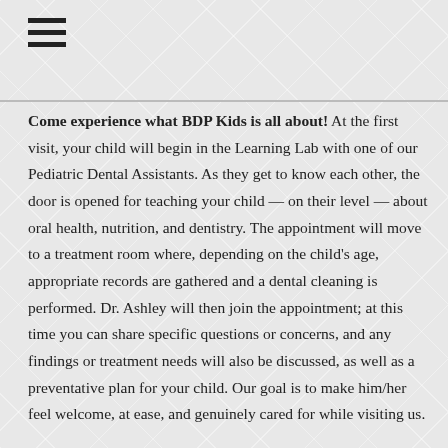[Figure (other): Hamburger menu icon with three horizontal lines]
Come experience what BDP Kids is all about! At the first visit, your child will begin in the Learning Lab with one of our Pediatric Dental Assistants. As they get to know each other, the door is opened for teaching your child — on their level — about oral health, nutrition, and dentistry. The appointment will move to a treatment room where, depending on the child's age, appropriate records are gathered and a dental cleaning is performed. Dr. Ashley will then join the appointment; at this time you can share specific questions or concerns, and any findings or treatment needs will also be discussed, as well as a preventative plan for your child. Our goal is to make him/her feel welcome, at ease, and genuinely cared for while visiting us.